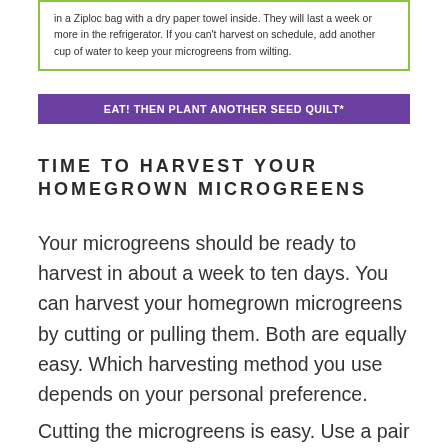in a Ziploc bag with a dry paper towel inside. They will last a week or more in the refrigerator. If you can't harvest on schedule, add another cup of water to keep your microgreens from wilting.
EAT! THEN PLANT ANOTHER SEED QUILT*
TIME TO HARVEST YOUR HOMEGROWN MICROGREENS
Your microgreens should be ready to harvest in about a week to ten days. You can harvest your homegrown microgreens by cutting or pulling them. Both are equally easy. Which harvesting method you use depends on your personal preference.
Cutting the microgreens is easy. Use a pair